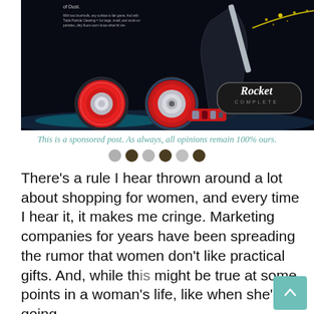[Figure (photo): Advertisement image for Shark Rocket Complete vacuum cleaner on dark background, showing the vacuum with two red-ringed brush rolls and yellow particle spray effect, with 'Rocket COMPLETE' branding in the lower right]
This is a sponsored post. As always, all opinions remain 100% ours.
There's a rule I hear thrown around a lot about shopping for women, and every time I hear it, it makes me cringe. Marketing companies for years have been spreading the rumor that women don't like practical gifts. And, while this might be true at some points in a woman's life, like when she's going